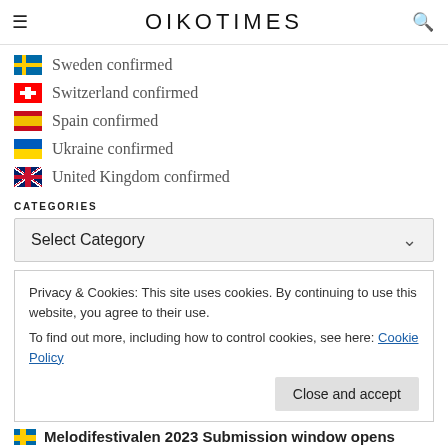OIKOTIMES
Sweden confirmed
Switzerland confirmed
Spain confirmed
Ukraine confirmed
United Kingdom confirmed
CATEGORIES
Select Category
Privacy & Cookies: This site uses cookies. By continuing to use this website, you agree to their use.
To find out more, including how to control cookies, see here: Cookie Policy
Melodifestivalen 2023 Submission window opens